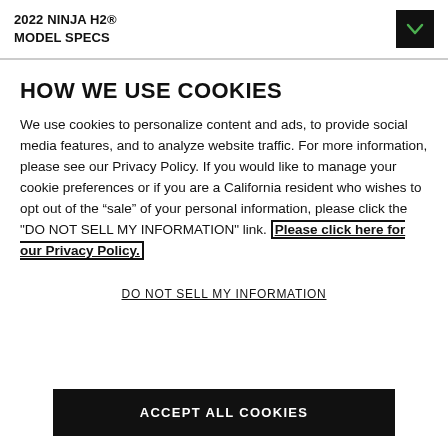2022 NINJA H2® MODEL SPECS
HOW WE USE COOKIES
We use cookies to personalize content and ads, to provide social media features, and to analyze website traffic. For more information, please see our Privacy Policy. If you would like to manage your cookie preferences or if you are a California resident who wishes to opt out of the "sale" of your personal information, please click the "DO NOT SELL MY INFORMATION" link. Please click here for our Privacy Policy.
DO NOT SELL MY INFORMATION
ACCEPT ALL COOKIES